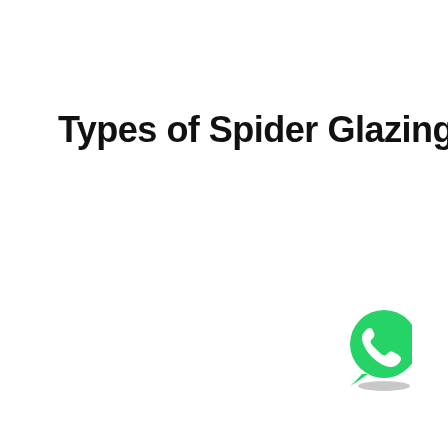Types of Spider Glazing
[Figure (logo): WhatsApp logo — green circular chat bubble with white telephone handset icon, with a grey shadow/bar beneath it, positioned in the bottom-right area of the page]